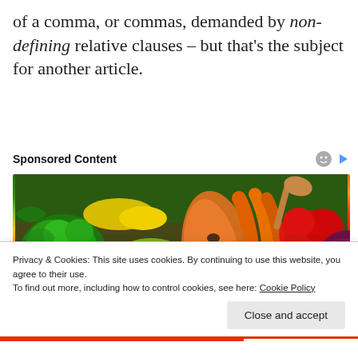of a comma, or commas, demanded by non-defining relative clauses – but that's the subject for another article.
Sponsored Content
[Figure (photo): Colorful arrangement of fresh vegetables and fruits including broccoli, cabbage, papaya, carrots, oranges, strawberries, peppers, and red cabbage.]
Privacy & Cookies: This site uses cookies. By continuing to use this website, you agree to their use.
To find out more, including how to control cookies, see here: Cookie Policy
Close and accept